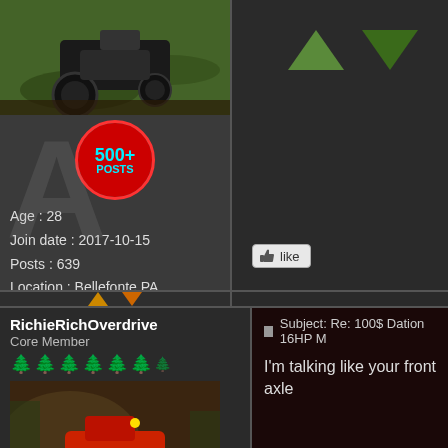[Figure (photo): Tractor/ATV on grass, aerial view, top portion of avatar image]
[Figure (infographic): 500+ POSTS red circular badge with cyan text]
Age : 28
Join date : 2017-10-15
Posts : 639
Location : Bellefonte PA
[Figure (infographic): Up and down vote green triangle arrows on dark background]
[Figure (infographic): Like button with thumbs up icon]
[Figure (infographic): Navigation up/down orange arrows]
RichieRichOverdrive
Core Member
[Figure (infographic): Green tree rating icons, 6.5 trees]
[Figure (photo): Red tractor/lawn mower on muddy hillside]
Subject: Re: 100$ Dation 16HP M
I'm talking like your front axle